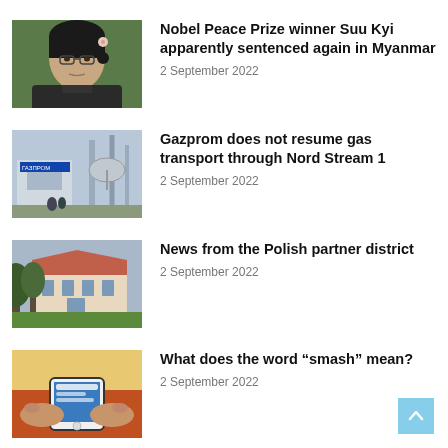[Figure (photo): Woman with glasses (Aung San Suu Kyi) against green background]
Nobel Peace Prize winner Suu Kyi apparently sentenced again in Myanmar
2 September 2022
[Figure (photo): Industrial gas facility with Gazprom signage]
Gazprom does not resume gas transport through Nord Stream 1
2 September 2022
[Figure (photo): European building with trees in foreground]
News from the Polish partner district
2 September 2022
[Figure (photo): Person holding smartphone]
What does the word “smash” mean?
2 September 2022